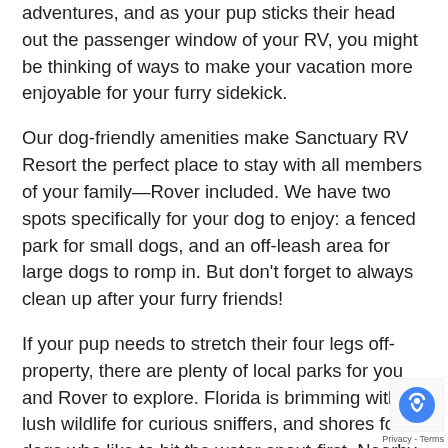adventures, and as your pup sticks their head out the passenger window of your RV, you might be thinking of ways to make your vacation more enjoyable for your furry sidekick.
Our dog-friendly amenities make Sanctuary RV Resort the perfect place to stay with all members of your family—Rover included. We have two spots specifically for your dog to enjoy: a fenced park for small dogs, and an off-leash area for large dogs to romp in. But don't forget to always clean up after your furry friends!
If your pup needs to stretch their four legs off-property, there are plenty of local parks for you and Rover to explore. Florida is brimming with lush wildlife for curious sniffers, and shores for dogs who like to hit the water snout-first. Nearby Barkingham Dog Park is a great place to spend an afternoon with your dog. There are on-lead trails for you and your buddy to scout out.